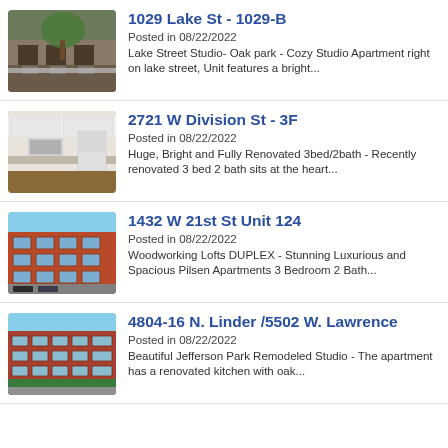1029 Lake St - 1029-B
Posted in 08/22/2022
Lake Street Studio- Oak park - Cozy Studio Apartment right on lake street, Unit features a bright...
2721 W Division St - 3F
Posted in 08/22/2022
Huge, Bright and Fully Renovated 3bed/2bath - Recently renovated 3 bed 2 bath sits at the heart...
1432 W 21st St Unit 124
Posted in 08/22/2022
Woodworking Lofts DUPLEX - Stunning Luxurious and Spacious Pilsen Apartments 3 Bedroom 2 Bath...
4804-16 N. Linder /5502 W. Lawrence
Posted in 08/22/2022
Beautiful Jefferson Park Remodeled Studio - The apartment has a renovated kitchen with oak...